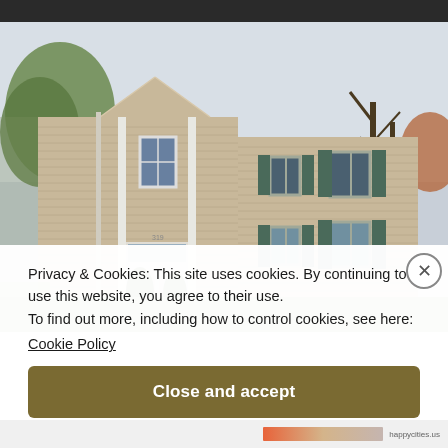[Figure (photo): Exterior photo of a two-story beige/tan vinyl-sided colonial house with white trim, green shutters, trees with spring foliage in the background, and a white front door. A dark strip appears at the top of the image.]
Privacy & Cookies: This site uses cookies. By continuing to use this website, you agree to their use.
To find out more, including how to control cookies, see here:
Cookie Policy
Close and accept